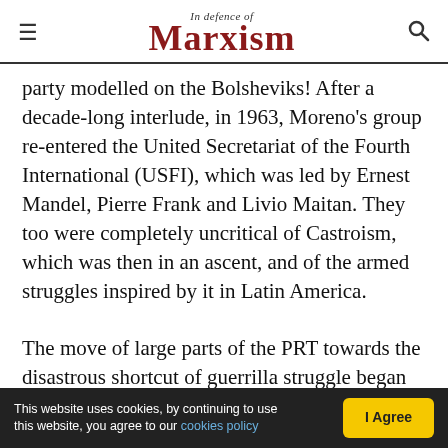In Defence of Marxism
party modelled on the Bolsheviks! After a decade-long interlude, in 1963, Moreno's group re-entered the United Secretariat of the Fourth International (USFI), which was led by Ernest Mandel, Pierre Frank and Livio Maitan. They too were completely uncritical of Castroism, which was then in an ascent, and of the armed struggles inspired by it in Latin America.
The move of large parts of the PRT towards the disastrous shortcut of guerrilla struggle began in 1966-1967. Only by the beginning of 1968 did Moreno pull back from this line, opening up a rift
This website uses cookies, by continuing to use this website, you agree to our cookies policy   I Agree